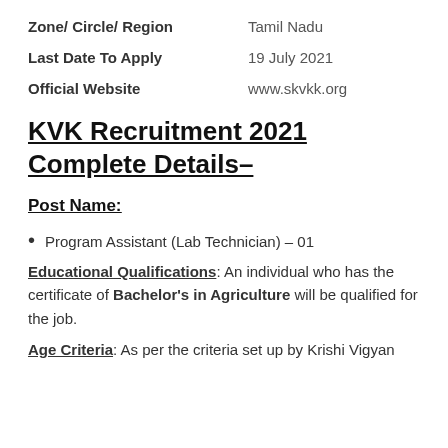Zone/ Circle/ Region    Tamil Nadu
Last Date To Apply    19 July 2021
Official Website    www.skvkk.org
KVK Recruitment 2021 Complete Details–
Post Name:
Program Assistant (Lab Technician) – 01
Educational Qualifications: An individual who has the certificate of Bachelor's in Agriculture will be qualified for the job.
Age Criteria: As per the criteria set up by Krishi Vigyan